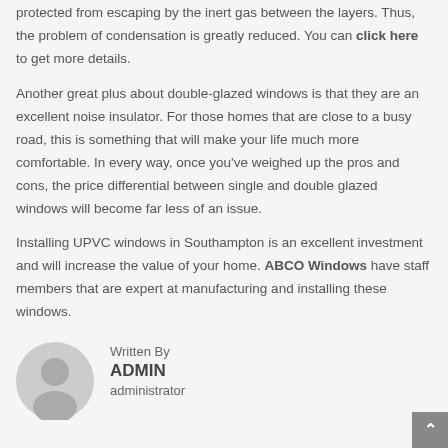protected from escaping by the inert gas between the layers. Thus, the problem of condensation is greatly reduced. You can click here to get more details.
Another great plus about double-glazed windows is that they are an excellent noise insulator. For those homes that are close to a busy road, this is something that will make your life much more comfortable. In every way, once you've weighed up the pros and cons, the price differential between single and double glazed windows will become far less of an issue.
Installing UPVC windows in Southampton is an excellent investment and will increase the value of your home. ABCO Windows have staff members that are expert at manufacturing and installing these windows.
[Figure (illustration): Circular avatar/profile image placeholder showing a generic user silhouette in grey tones]
Written By
ADMIN
administrator